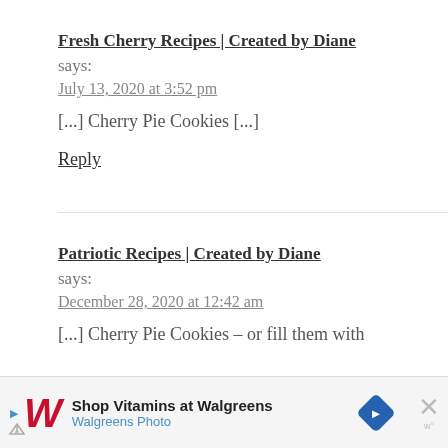Fresh Cherry Recipes | Created by Diane
says:
July 13, 2020 at 3:52 pm
[...] Cherry Pie Cookies [...]
Reply
Patriotic Recipes | Created by Diane
says:
December 28, 2020 at 12:42 am
[...] Cherry Pie Cookies – or fill them with
[Figure (other): Walgreens advertisement banner: Shop Vitamins at Walgreens / Walgreens Photo, with Walgreens logo, navigation arrow icon, close button]